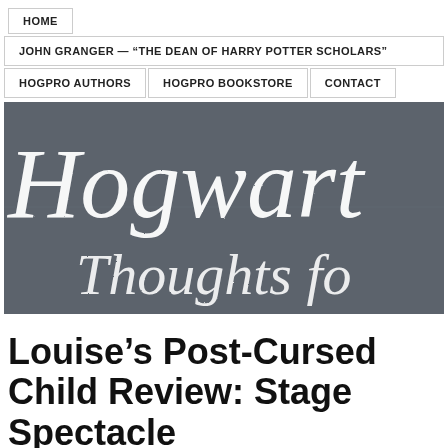HOME
JOHN GRANGER — “THE DEAN OF HARRY POTTER SCHOLARS”
HOGPRO AUTHORS | HOGPRO BOOKSTORE | CONTACT
[Figure (photo): Chalkboard banner image with decorative serif/script text reading 'Hogwart' and 'Thoughts fo' in white on a dark grey chalkboard background]
Louise’s Post-Cursed Child Review: Stage Spectacle